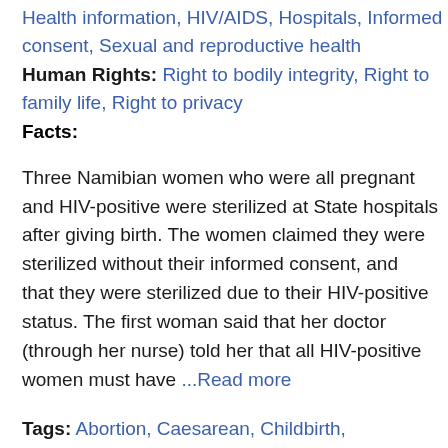Health information, HIV/AIDS, Hospitals, Informed consent, Sexual and reproductive health
Human Rights: Right to bodily integrity, Right to family life, Right to privacy
Facts:
Three Namibian women who were all pregnant and HIV-positive were sterilized at State hospitals after giving birth. The women claimed they were sterilized without their informed consent, and that they were sterilized due to their HIV-positive status. The first woman said that her doctor (through her nurse) told her that all HIV-positive women must have ...Read more
Tags: Abortion, Caesarean, Childbirth, Compulsory sterilization, Counseling, Emergency care, Forced